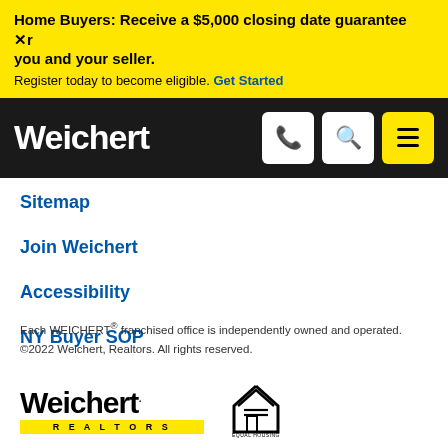Home Buyers: Receive a $5,000 closing date guarantee ×r you and your seller. Register today to become eligible. Get Started
[Figure (logo): Weichert logo and navigation bar with phone, search, and menu icons on black background]
Sitemap
Join Weichert
Accessibility
NY Buyer SOP
Each WEICHERT® franchised office is independently owned and operated. ©2022 Weichert, Realtors. All rights reserved.
[Figure (logo): Weichert Realtors logo with yellow bar and Equal Housing Opportunity logo]